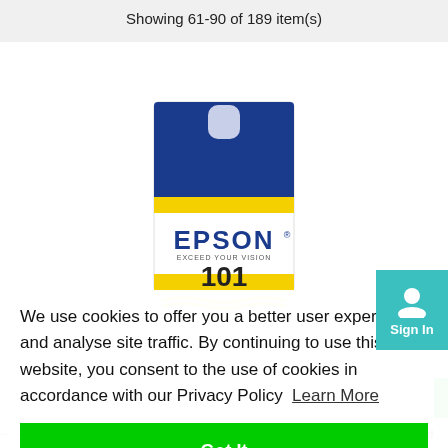Showing 61-90 of 189 item(s)
[Figure (photo): Epson 101 yellow ink cartridge product image showing blue and yellow packaging with EPSON EXCEED YOUR VISION branding and model number 101]
We use cookies to offer you a better user experience and analyse site traffic. By continuing to use this website, you consent to the use of cookies in accordance with our Privacy Policy  Learn More
Got It
Sign In
— — — — was moved from 3 Sandon Road to 1 Sandon Road